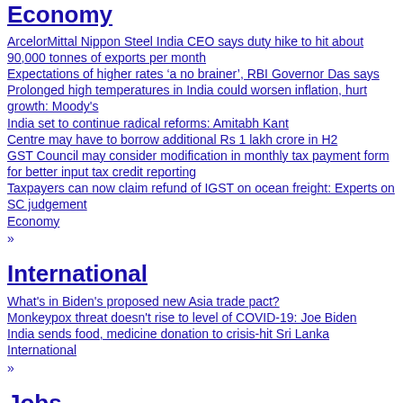Economy
ArcelorMittal Nippon Steel India CEO says duty hike to hit about 90,000 tonnes of exports per month
Expectations of higher rates ‘a no brainer’, RBI Governor Das says
Prolonged high temperatures in India could worsen inflation, hurt growth: Moody's
India set to continue radical reforms: Amitabh Kant
Centre may have to borrow additional Rs 1 lakh crore in H2
GST Council may consider modification in monthly tax payment form for better input tax credit reporting
Taxpayers can now claim refund of IGST on ocean freight: Experts on SC judgement
Economy
»
International
What's in Biden's proposed new Asia trade pact?
Monkeypox threat doesn't rise to level of COVID-19: Joe Biden
India sends food, medicine donation to crisis-hit Sri Lanka
International
»
Jobs